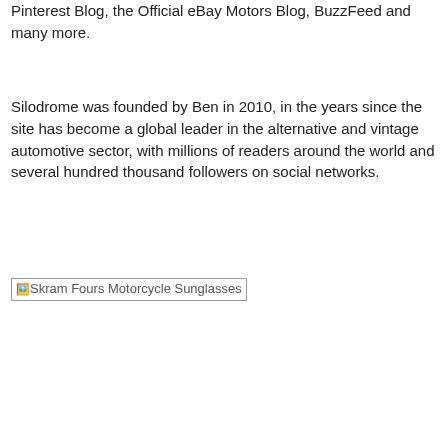Pinterest Blog, the Official eBay Motors Blog, BuzzFeed and many more.
Silodrome was founded by Ben in 2010, in the years since the site has become a global leader in the alternative and vintage automotive sector, with millions of readers around the world and several hundred thousand followers on social networks.
[Figure (photo): Skram Fours Motorcycle Sunglasses — broken image placeholder with alt text]